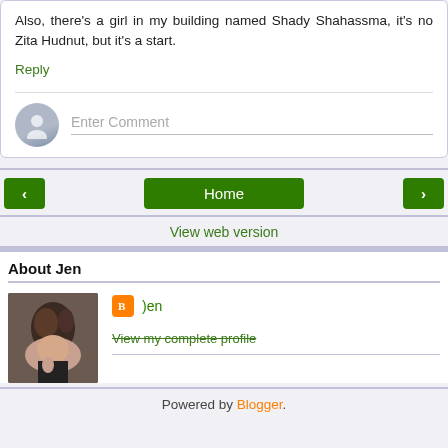Also, there's a girl in my building named Shady Shahassma, it's no Zita Hudnut, but it's a start.
Reply
Enter Comment
‹
Home
›
View web version
About Jen
Jen
View my complete profile
Powered by Blogger.